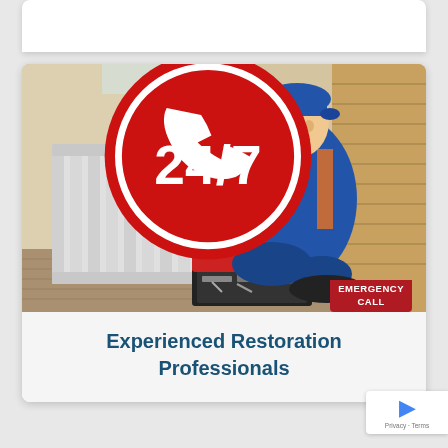[Figure (photo): A technician in a blue and orange uniform crouching beside a white wall radiator, working on it with a tool. An open toolbox with various tools is on the floor beside him. A 24/7 Emergency Call badge is overlaid in the bottom-right corner of the photo.]
Experienced Restoration Professionals